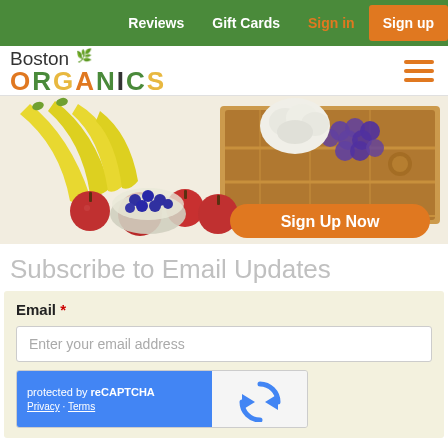Reviews  Gift Cards  Sign in  Sign up
[Figure (logo): Boston Organics logo with leaf icon]
[Figure (photo): Organic produce including bananas, apples, blueberries, grapes, cauliflower in a wooden crate with a Sign Up Now button overlay]
Subscribe to Email Updates
Email *
Enter your email address
[Figure (screenshot): Google reCAPTCHA widget — protected by reCAPTCHA with Privacy and Terms links]